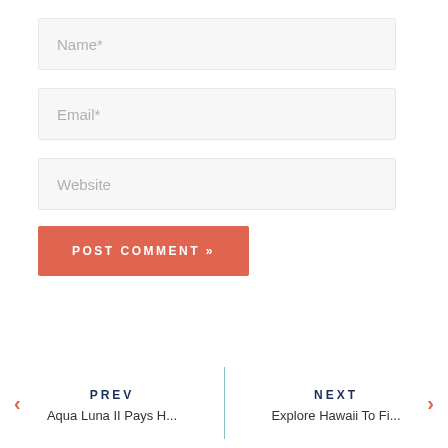Name*
Email*
Website
POST COMMENT »
PREV
Aqua Luna II Pays H...
NEXT
Explore Hawaii To Fi...